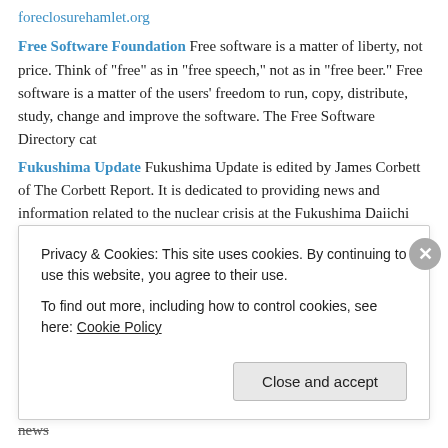foreclosurehamlet.org
Free Software Foundation Free software is a matter of liberty, not price. Think of “free” as in “free speech,” not as in “free beer.” Free software is a matter of the users’ freedom to run, copy, distribute, study, change and improve the software. The Free Software Directory cat
Fukushima Update Fukushima Update is edited by James Corbett of The Corbett Report. It is dedicated to providing news and information related to the nuclear crisis at the Fukushima Daiichi nuclear power plant in northeastern Japan. With neither a pro- nor anti-nuclear age
GATA GOLD ANTI-TRUST ACTION COMMITTEE; organized in the fall of 1998 to expose, oppose, and litigate against collusion to control the price and supply of gold and related financial instruments.
Israel Today Israel Today’s mission is to be the definitive source for a truthful and balanced perspective on Israel and to provide timely news
Privacy & Cookies: This site uses cookies. By continuing to use this website, you agree to their use.
To find out more, including how to control cookies, see here: Cookie Policy
Close and accept